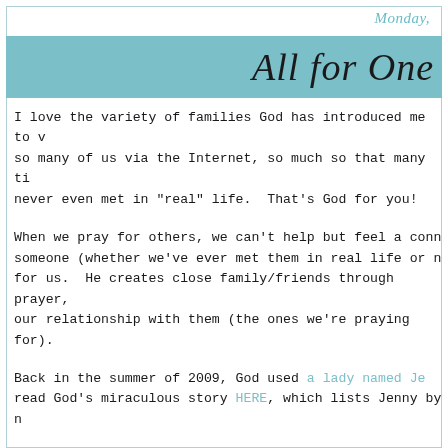Monday,
All for One
I love the variety of families God has introduced me to via the Internet, so much so that many times we've never even met in "real" life.  That's God for you!
When we pray for others, we can't help but feel a connection with someone (whether we've ever met them in real life or not). He creates close family/friends through prayer, and deepens our relationship with them (the ones we're praying for).
Back in the summer of 2009, God used a lady named Jenny to read God's miraculous story HERE, which lists Jenny by name.